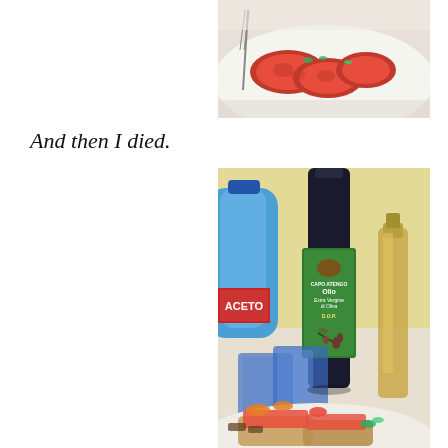[Figure (photo): Top portion of a food photo showing a white plate with sliced tomatoes garnished with herbs, a fork visible, on a light surface.]
And then I died.
[Figure (photo): Italian table setting with a dark bottle of extra virgin olive oil labeled 'Olio Extra Vergine di Oliva DOP', a blue plastic bottle of Aceto (vinegar), two blue glass cups, another oil/vinegar dispenser, and a plate of bruschetta with diced tomatoes and roasted vegetables in the foreground.]